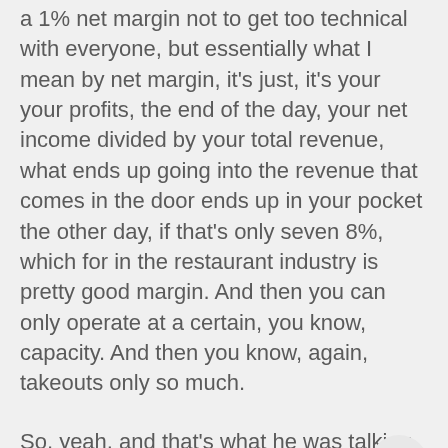a 1% net margin not to get too technical with everyone, but essentially what I mean by net margin, it's just, it's your your profits, the end of the day, your net income divided by your total revenue, what ends up going into the revenue that comes in the door ends up in your pocket the other day, if that's only seven 8%, which for in the restaurant industry is pretty good margin. And then you can only operate at a certain, you know, capacity. And then you know, again, takeouts only so much.
So, yeah, and that's what he was talking about. He's like, man, I think there's gonna be a rash. I mean, there's been a lot of closings, but he said, I think there's gonna be a rash of closings. As the